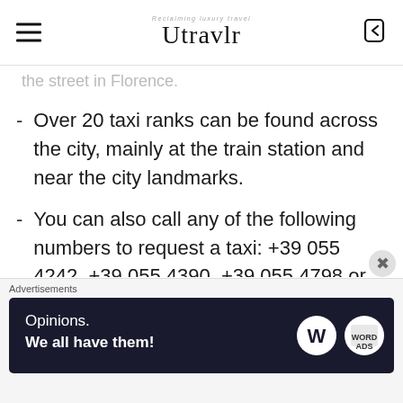Utravlr
the street in Florence.
Over 20 taxi ranks can be found across the city, mainly at the train station and near the city landmarks.
You can also call any of the following numbers to request a taxi: +39 055 4242, +39 055 4390, +39 055 4798 or +39 055 4499
There's a base fare of €3.30, then €0.91 for each of the first...
Advertisements
[Figure (other): WordPress advertisement banner reading 'Opinions. We all have them!' with WordPress and another logo]